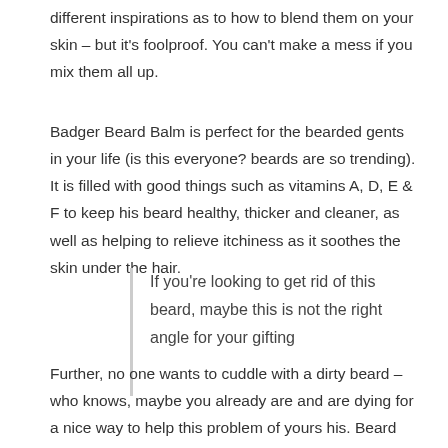different inspirations as to how to blend them on your skin – but it's foolproof. You can't make a mess if you mix them all up.
Badger Beard Balm is perfect for the bearded gents in your life (is this everyone? beards are so trending). It is filled with good things such as vitamins A, D, E & F to keep his beard healthy, thicker and cleaner, as well as helping to relieve itchiness as it soothes the skin under the hair.
If you're looking to get rid of this beard, maybe this is not the right angle for your gifting
Further, no one wants to cuddle with a dirty beard – who knows, maybe you already are and are dying for a nice way to help this problem of yours his. Beard Wash made by Beard Buddy. Started